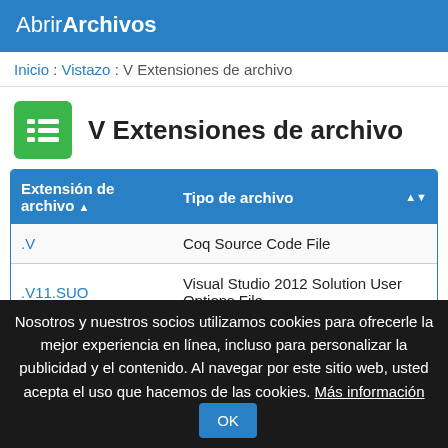AbrirArchivos
Inicio : Vistazo : V Extensiones de archivo
V Extensiones de archivo
| Extensión de archivo ▲ | Tipo de archivo ⇅ |
| --- | --- |
| .V | Coq Source Code File |
| .V11.SUO | Visual Studio 2012 Solution User Options File |
Nosotros y nuestros socios utilizamos cookies para ofrecerle la mejor experiencia en línea, incluso para personalizar la publicidad y el contenido. Al navegar por este sitio web, usted acepta el uso que hacemos de las cookies. Más información  OK